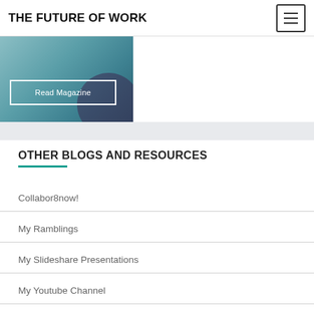THE FUTURE OF WORK
[Figure (photo): Partial view of a magazine cover image with teal/blue tones and a 'Read Magazine' button overlay]
OTHER BLOGS AND RESOURCES
Collabor8now!
My Ramblings
My Slideshare Presentations
My Youtube Channel
Research Projects & Papers